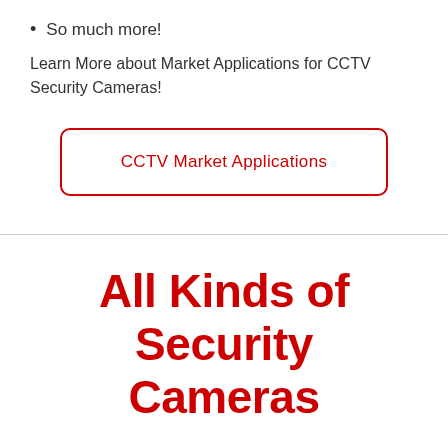So much more!
Learn More about Market Applications for CCTV Security Cameras!
[Figure (other): Red-outlined rounded rectangle button labeled 'CCTV Market Applications']
All Kinds of Security Cameras